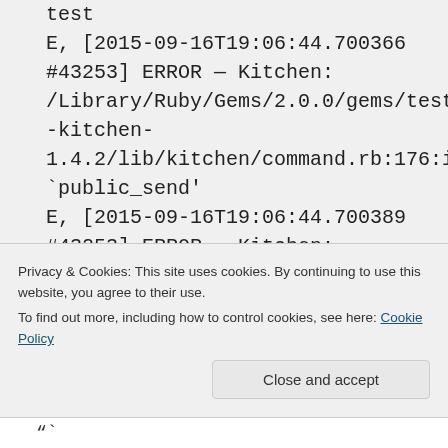test
E, [2015-09-16T19:06:44.700366 #43253] ERROR — Kitchen: /Library/Ruby/Gems/2.0.0/gems/test-kitchen-1.4.2/lib/kitchen/command.rb:176:in `public_send'
E, [2015-09-16T19:06:44.700389 #43253] ERROR — Kitchen: /Library/Ruby/Gems/2.0.0/gems/test-kitchen-
Privacy & Cookies: This site uses cookies. By continuing to use this website, you agree to their use.
To find out more, including how to control cookies, see here: Cookie Policy
Close and accept
“`